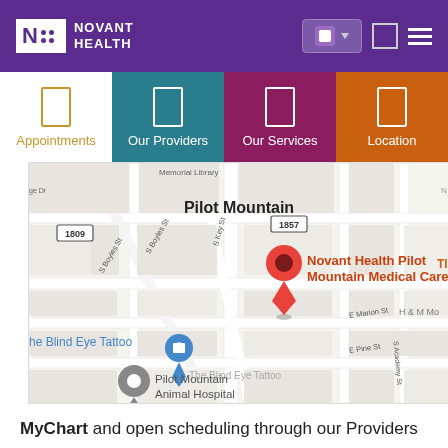[Figure (logo): Novant Health logo in purple header]
[Figure (screenshot): Navigation tabs: Appointments (white/gold), Our Providers (teal), Our Services (maroon), Location (orange)]
[Figure (map): Google Maps showing Pilot Mountain area with red pin for Novant Health Pilot Mountain Medical Care, also showing Pilot Mountain Animal Hospital and The Blind Eye Tattoo]
MyChart and open scheduling through our Providers page can both be used to schedule your visit online. You can also call us during office hours and we will be happy